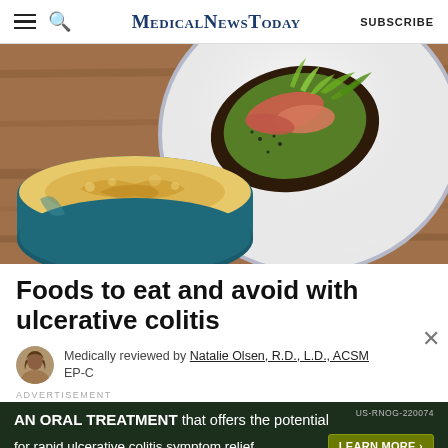MedicalNewsToday | SUBSCRIBE
[Figure (photo): Overhead view of a plate with salmon toast topped with avocado and greens, alongside a blue mug of frothy coffee on a wooden table.]
Foods to eat and avoid with ulcerative colitis
Medically reviewed by Natalie Olsen, R.D., L.D., ACSM EP-C
ADVERTISEMENT
US-RNOG-220074 AN ORAL TREATMENT that offers the potential for rapid ulcerative colitis symptom relief. LEARN MORE >